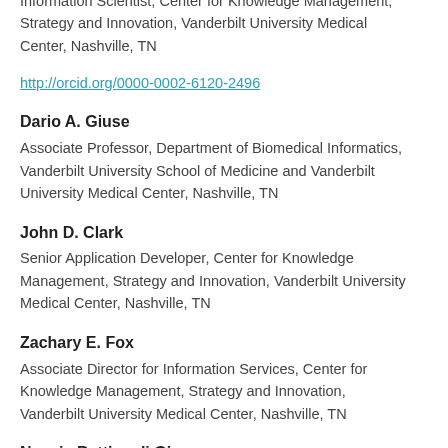Information Scientist, Center for Knowledge Management, Strategy and Innovation, Vanderbilt University Medical Center, Nashville, TN
http://orcid.org/0000-0002-6120-2496
Dario A. Giuse
Associate Professor, Department of Biomedical Informatics, Vanderbilt University School of Medicine and Vanderbilt University Medical Center, Nashville, TN
John D. Clark
Senior Application Developer, Center for Knowledge Management, Strategy and Innovation, Vanderbilt University Medical Center, Nashville, TN
Zachary E. Fox
Associate Director for Information Services, Center for Knowledge Management, Strategy and Innovation, Vanderbilt University Medical Center, Nashville, TN
Nunzia Bettinsoli Giuse
Professor of Biomedical Informatics and Professor of